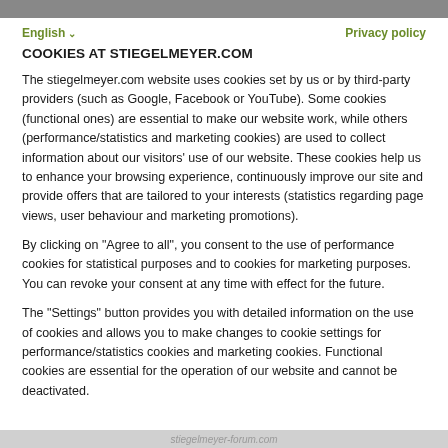English   Privacy policy
COOKIES AT STIEGELMEYER.COM
The stiegelmeyer.com website uses cookies set by us or by third-party providers (such as Google, Facebook or YouTube). Some cookies (functional ones) are essential to make our website work, while others (performance/statistics and marketing cookies) are used to collect information about our visitors' use of our website. These cookies help us to enhance your browsing experience, continuously improve our site and provide offers that are tailored to your interests (statistics regarding page views, user behaviour and marketing promotions).
By clicking on "Agree to all", you consent to the use of performance cookies for statistical purposes and to cookies for marketing purposes. You can revoke your consent at any time with effect for the future.
The "Settings" button provides you with detailed information on the use of cookies and allows you to make changes to cookie settings for performance/statistics cookies and marketing cookies. Functional cookies are essential for the operation of our website and cannot be deactivated.
stiegelmeyer-forum.com